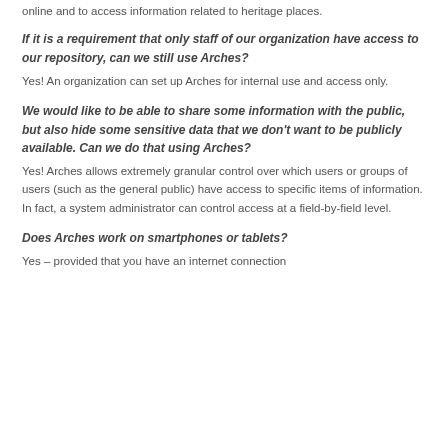online and to access information related to heritage places.
If it is a requirement that only staff of our organization have access to our repository, can we still use Arches?
Yes! An organization can set up Arches for internal use and access only.
We would like to be able to share some information with the public, but also hide some sensitive data that we don't want to be publicly available. Can we do that using Arches?
Yes! Arches allows extremely granular control over which users or groups of users (such as the general public) have access to specific items of information. In fact, a system administrator can control access at a field-by-field level.
Does Arches work on smartphones or tablets?
Yes – provided that you have an internet connection